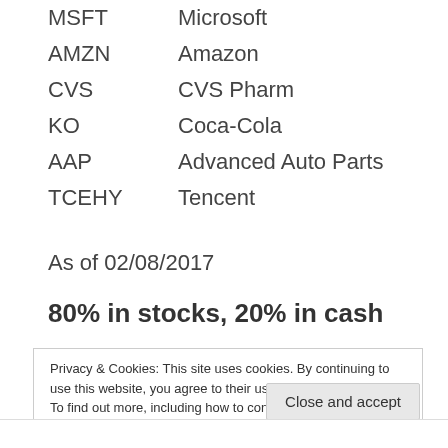| Symbol | Company |
| --- | --- |
| MSFT | Microsoft |
| AMZN | Amazon |
| CVS | CVS Pharm |
| KO | Coca-Cola |
| AAP | Advanced Auto Parts |
| TCEHY | Tencent |
As of 02/08/2017
80% in stocks, 20% in cash
Privacy & Cookies: This site uses cookies. By continuing to use this website, you agree to their use.
To find out more, including how to control cookies, see here: Cookie Policy
Close and accept